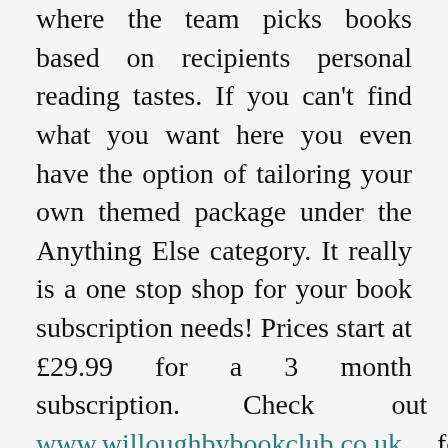where the team picks books based on recipients personal reading tastes. If you can't find what you want here you even have the option of tailoring your own themed package under the Anything Else category. It really is a one stop shop for your book subscription needs! Prices start at £29.99 for a 3 month subscription. Check out www.willoughbybookclub.co.uk for more information.
Big Green Bookshop
The Big Green Bookshop is an independent bookshop based in London which offers either a children's or adult's bespoke book subscription. The...